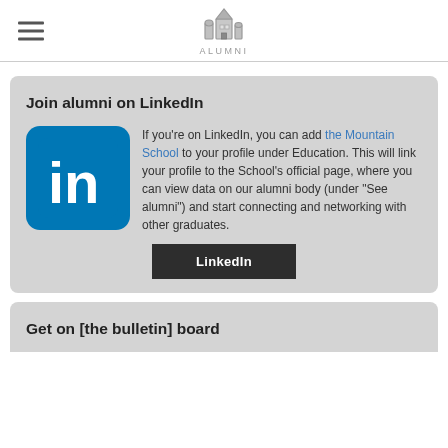ALUMNI
Join alumni on LinkedIn
[Figure (logo): LinkedIn logo — blue rounded square with white 'in' text]
If you're on LinkedIn, you can add the Mountain School to your profile under Education. This will link your profile to the School's official page, where you can view data on our alumni body (under "See alumni") and start connecting and networking with other graduates.
LinkedIn
Get on [the bulletin] board